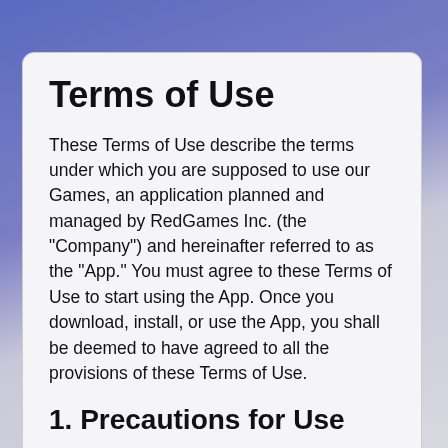Terms of Use
These Terms of Use describe the terms under which you are supposed to use our Games, an application planned and managed by RedGames Inc. (the "Company") and hereinafter referred to as the "App." You must agree to these Terms of Use to start using the App. Once you download, install, or use the App, you shall be deemed to have agreed to all the provisions of these Terms of Use.
1. Precautions for Use
1.1. You must use the App in accordance with these Terms of Use. If you do not agree to these Terms of Use, you must promptly stop using the